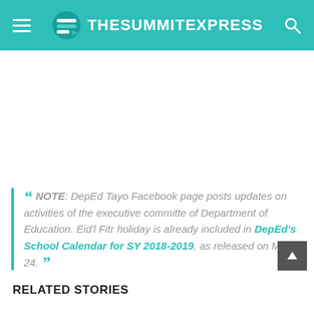TheSummitExpress
NOTE: DepEd Tayo Facebook page posts updates on activities of the executive committe of Department of Education. Eid'l Fitr holiday is already included in DepEd's School Calendar for SY 2018-2019, as released on May 24.
RELATED STORIES